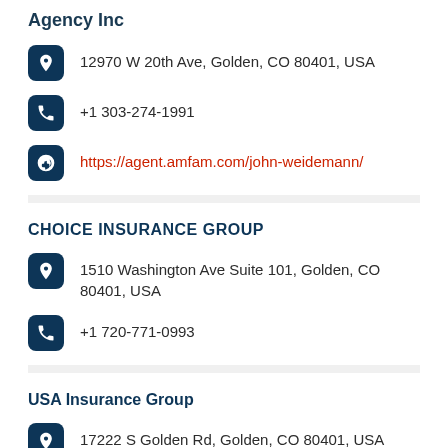Agency Inc
12970 W 20th Ave, Golden, CO 80401, USA
+1 303-274-1991
https://agent.amfam.com/john-weidemann/
CHOICE INSURANCE GROUP
1510 Washington Ave Suite 101, Golden, CO 80401, USA
+1 720-771-0993
USA Insurance Group
17222 S Golden Rd, Golden, CO 80401, USA